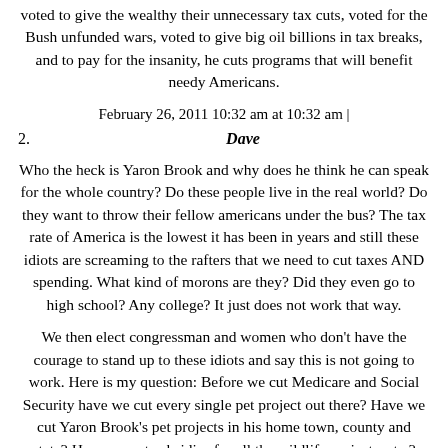voted to give the wealthy their unnecessary tax cuts, voted for the Bush unfunded wars, voted to give big oil billions in tax breaks, and to pay for the insanity, he cuts programs that will benefit needy Americans.
February 26, 2011 10:32 am at 10:32 am |
2.	Dave
Who the heck is Yaron Brook and why does he think he can speak for the whole country? Do these people live in the real world? Do they want to throw their fellow americans under the bus? The tax rate of America is the lowest it has been in years and still these idiots are screaming to the rafters that we need to cut taxes AND spending. What kind of morons are they? Did they even go to high school? Any college? It just does not work that way.
We then elect congressman and women who don't have the courage to stand up to these idiots and say this is not going to work. Here is my question: Before we cut Medicare and Social Security have we cut every single pet project out there? Have we cut Yaron Brook's pet projects in his home town, county and state? Have we cut subsidies for all the wildlife projects, etc.?
February 26, 2011 10:34 am at 10:34 am |